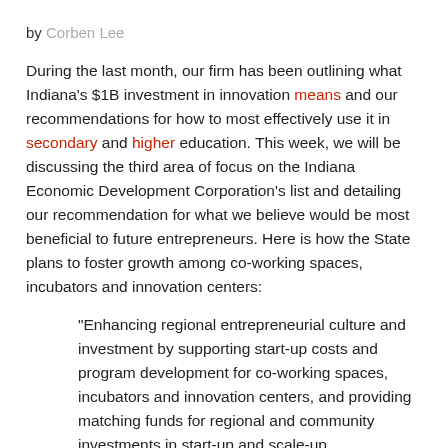by Corben Lee
During the last month, our firm has been outlining what Indiana's $1B investment in innovation means and our recommendations for how to most effectively use it in secondary and higher education. This week, we will be discussing the third area of focus on the Indiana Economic Development Corporation's list and detailing our recommendation for what we believe would be most beneficial to future entrepreneurs. Here is how the State plans to foster growth among co-working spaces, incubators and innovation centers:
“Enhancing regional entrepreneurial culture and investment by supporting start-up costs and program development for co-working spaces, incubators and innovation centers, and providing matching funds for regional and community investments in start-up and scale-up companies.”